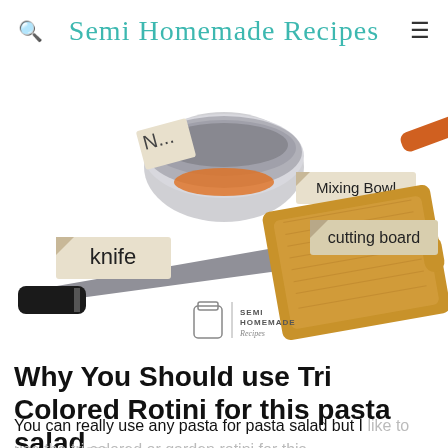Semi Homemade Recipes
[Figure (photo): Flat-lay photo of kitchen tools on white background: a mixing bowl (labeled 'Mixing Bowl'), a chef's knife (labeled 'knife'), a cutting board (labeled 'cutting board'), and a Semi Homemade Recipes watermark logo in the center.]
Why You Should use Tri Colored Rotini for this pasta salad...
You can really use any pasta for pasta salad but I like to use the tri-colored or garden rotini for this ranch pasta salad for a few reasons...